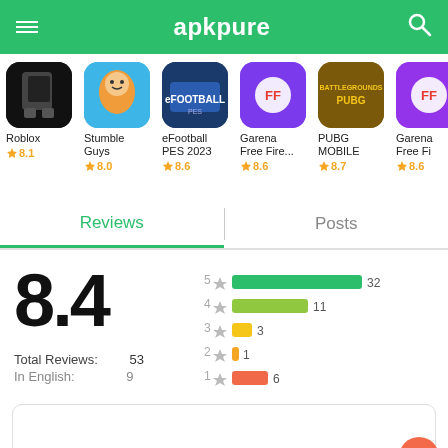apkpure
[Figure (screenshot): App icons row: Roblox 8.1, Stumble Guys 8.0, eFootball PES 2023 8.6, Garena Free Fire 8.6, PUBG MOBILE 8.7, Garena Free Fire 8.6]
Reviews
Posts
[Figure (bar-chart): Rating distribution]
8.4
Total Reviews:
In English:
53
9